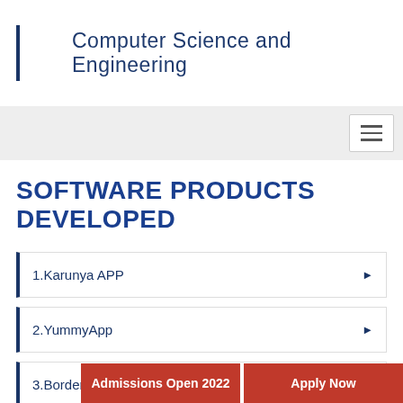Computer Science and Engineering
SOFTWARE PRODUCTS DEVELOPED
1.Karunya APP
2.YummyApp
3.Border Detector for Fisherman
Admissions Open 2022
Apply Now